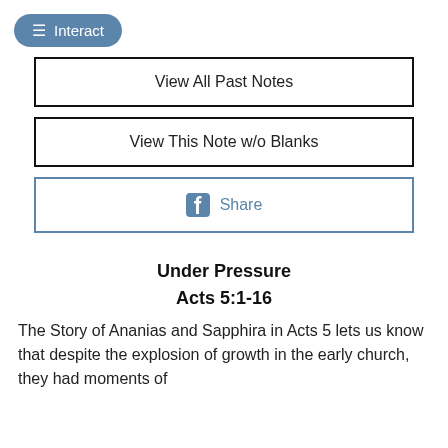Interact
View All Past Notes
View This Note w/o Blanks
Share
Under Pressure
Acts 5:1-16
The Story of Ananias and Sapphira in Acts 5 lets us know that despite the explosion of growth in the early church, they had moments of